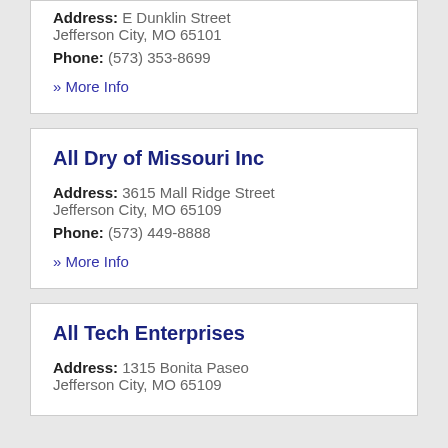Address: E Dunklin Street Jefferson City, MO 65101
Phone: (573) 353-8699
» More Info
All Dry of Missouri Inc
Address: 3615 Mall Ridge Street Jefferson City, MO 65109
Phone: (573) 449-8888
» More Info
All Tech Enterprises
Address: 1315 Bonita Paseo Jefferson City, MO 65109